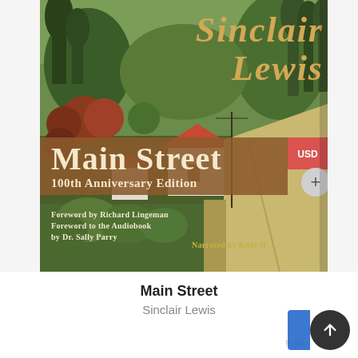[Figure (illustration): Book cover for 'Main Street: 100th Anniversary Edition' by Sinclair Lewis. Features a Grant Wood-style painting of a small American town with houses, trees, rolling hills, and a road. Text on cover: SINCLAIR LEWIS in gold italic at top; MAIN STREET in large white serif on brown band; 100TH ANNIVERSARY EDITION below; Foreword by Richard Lingeman; Foreword to the audiobook by Dr. Sally Parry; Narrated by Kitty H[uxley]; USD badge and + button visible on right.]
Main Street
Sinclair Lewis